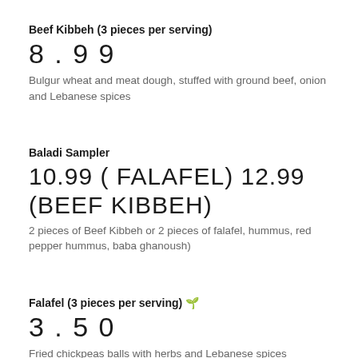Beef Kibbeh (3 pieces per serving)
8.99
Bulgur wheat and meat dough, stuffed with ground beef, onion and Lebanese spices
Baladi Sampler
10.99 ( FALAFEL) 12.99 (BEEF KIBBEH)
2 pieces of Beef Kibbeh or 2 pieces of falafel, hummus, red pepper hummus, baba ghanoush)
Falafel (3 pieces per serving) 🌱
3.50
Fried chickpeas balls with herbs and Lebanese spices